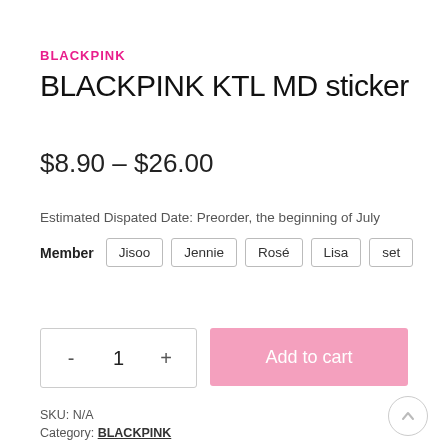BLACKPINK
BLACKPINK KTL MD sticker
$8.90 – $26.00
Estimated Dispated Date: Preorder, the beginning of July
Member   Jisoo   Jennie   Rosé   Lisa   set
- 1 +
Add to cart
SKU: N/A
Category: BLACKPINK